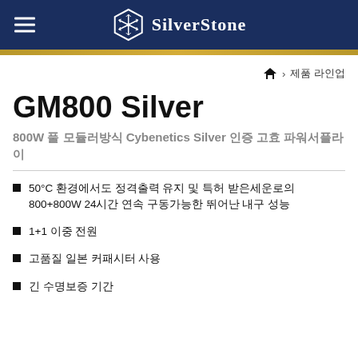[Figure (logo): SilverStone logo with snowflake hexagon icon and brand name in white on dark navy header bar]
홈 > 제품 라인업
GM800 Silver
800W 풀 모듈러방식 Cybenetics Silver 인증 고효 파워서플라이
50°C 환경에서도 정격출력 유지 및 특허 받은세운로의 800+800W 24시간 연속 구동가능한 뛰어 난 내구 성능
1+1 이중 전원
고품질 일본 커패시터 사용
긴 수명보증 기간